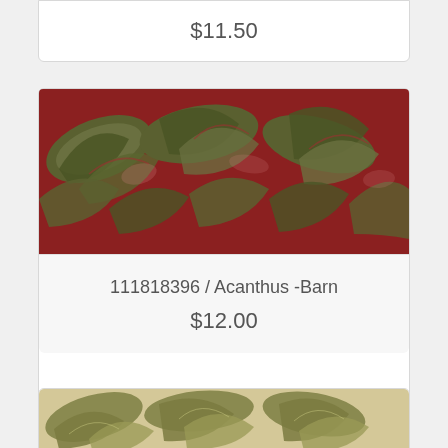$11.50
[Figure (photo): Fabric swatch showing red and olive green acanthus leaf pattern (batik style), Acanthus Barn colorway]
111818396 / Acanthus -Barn
$12.00
[Figure (photo): Fabric swatch showing cream and olive green acanthus leaf pattern (batik style)]